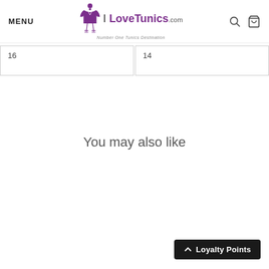MENU  I LoveTunics.com  Number One Tunics Destination
16
14
You may also like
Loyalty Points